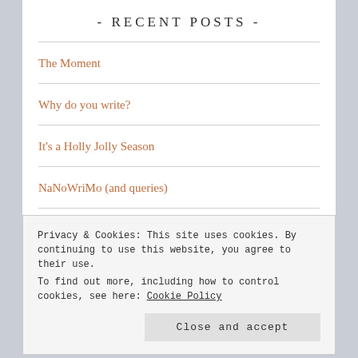- RECENT POSTS -
The Moment
Why do you write?
It's a Holly Jolly Season
NaNoWriMo (and queries)
Writer Talk & Sake
Privacy & Cookies: This site uses cookies. By continuing to use this website, you agree to their use.
To find out more, including how to control cookies, see here: Cookie Policy
Close and accept